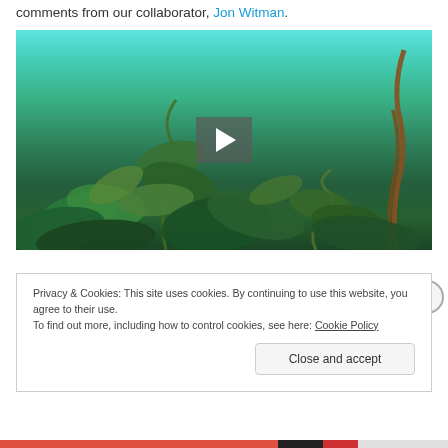comments from our collaborator, Jon Witman.
[Figure (screenshot): Underwater video thumbnail showing kelp forest with green algae and seaweed in teal/green water, with a play button overlay in the center.]
Privacy & Cookies: This site uses cookies. By continuing to use this website, you agree to their use.
To find out more, including how to control cookies, see here: Cookie Policy
Close and accept